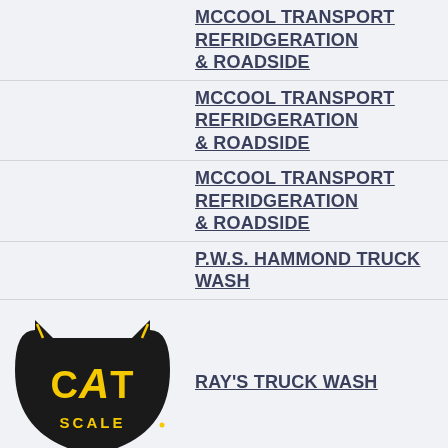MCCOOL TRANSPORT REFRIDGERATION & ROADSIDE
MCCOOL TRANSPORT REFRIDGERATION & ROADSIDE
MCCOOL TRANSPORT REFRIDGERATION & ROADSIDE
P.W.S. HAMMOND TRUCK WASH
[Figure (logo): CAT Scale logo - black cat head shape with yellow CAT text and SCALE text]
RAY'S TRUCK WASH
[Figure (logo): CAT Scale logo - black cat head shape with yellow CAT text and SCALE text]
TRUCKOMAT TRUCK WASH - IOWA 80 GR
G-WASH
KANSAS CITY REFRIGERATION SOLUTION